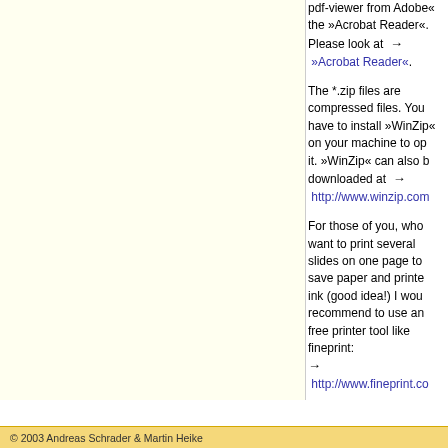pdf-viewer from Adobe«... the »Acrobat Reader«. Please look at → »Acrobat Reader«.
The *.zip files are compressed files. You have to install »WinZip« on your machine to open it. »WinZip« can also be downloaded at → http://www.winzip.com
For those of you, who want to print several slides on one page to save paper and printer ink (good idea!) I would recommend to use any free printer tool like fineprint: → http://www.fineprint.com
© 2003 Andreas Schrader & Martin Heike